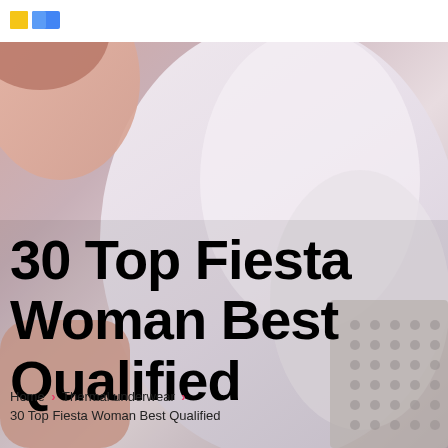[Figure (photo): Background photo of a woman wearing a white thermal shirt, sitting near a radiator. The image is blurred/cropped showing torso area with warm pink and lavender tones.]
logo icon (yellow and blue shapes)
30 Top Fiesta Woman Best Qualified
Home > Thermal underwear > 30 Top Fiesta Woman Best Qualified